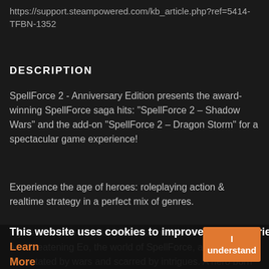https://support.steampowered.com/kb_article.php?ref=5414-TFBN-1352
DESCRIPTION
SpellForce 2 - Anniversary Edition presents the award-winning SpellForce saga hits: "SpellForce 2 – Shadow Wars" and the add-on "SpellForce 2 – Dragon Storm" for a spectacular game experience!
Experience the age of heroes: roleplaying action & realtime strategy in a perfect mix of genres.
Mysterious powers arise from darkness and shadow. They are threatening Eo, the world of SpellForce, already devastated by wars and scarred by intrigues. A hero born of the legendary Shaikan and linked by a life bond with an ancient dragon now holds the fate of the world i
This website uses cookies to improve your experience. Learn More
I understand